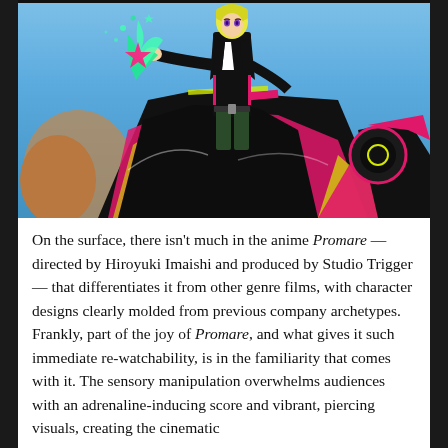[Figure (illustration): Anime illustration from Promare showing a blonde character in a black outfit with pink and yellow accents standing atop a large mechanical/robotic figure with bold geometric shapes. The character holds a glowing green flame-like energy in their hand. Background is a blue sky with rocky formations.]
On the surface, there isn't much in the anime Promare — directed by Hiroyuki Imaishi and produced by Studio Trigger — that differentiates it from other genre films, with character designs clearly molded from previous company archetypes. Frankly, part of the joy of Promare, and what gives it such immediate re-watchability, is in the familiarity that comes with it. The sensory manipulation overwhelms audiences with an adrenaline-inducing score and vibrant, piercing visuals, creating the cinematic